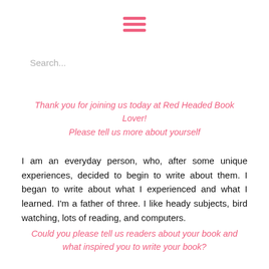[Figure (other): Hamburger menu icon — three horizontal pink bars stacked vertically, centered at top of page]
Search...
Thank you for joining us today at Red Headed Book Lover! Please tell us more about yourself
I am an everyday person, who, after some unique experiences, decided to begin to write about them. I began to write about what I experienced and what I learned. I'm a father of three. I like heady subjects, bird watching, lots of reading, and computers.
Could you please tell us readers about your book and what inspired you to write your book?